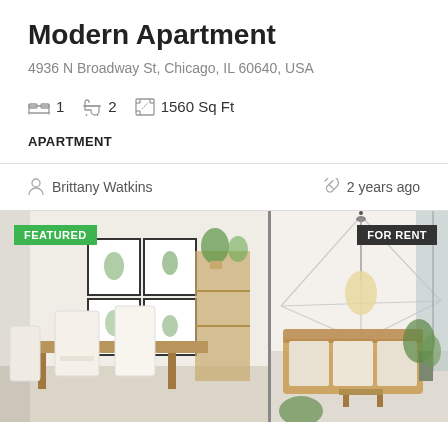Modern Apartment
4936 N Broadway St, Chicago, IL 60640, USA
1 bedroom  2 bathrooms  1560 Sq Ft
APARTMENT
Brittany Watkins
2 years ago
[Figure (photo): Left photo: bright Scandinavian-style dining room with wood table, white chairs, botanical prints on wall, bamboo shelf with plants. Badge: FEATURED]
[Figure (photo): Right photo: minimalist living room with geometric ceiling light, rattan sofa set, large window, tropical plant. Badge: FOR RENT]